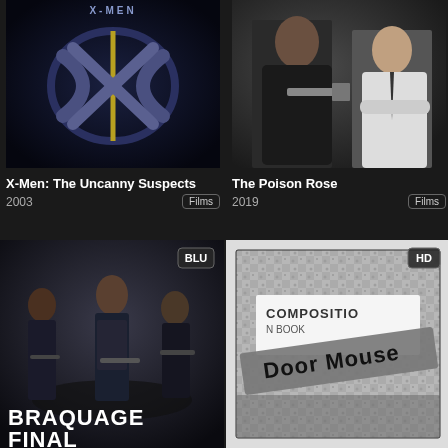[Figure (photo): Movie poster for X-Men: The Uncanny Suspects showing the X-Men logo on dark background]
X-Men: The Uncanny Suspects
2003    Films
[Figure (photo): Movie poster for The Poison Rose showing two men with a gun]
The Poison Rose
2019    Films
[Figure (photo): Movie poster for Braquage Final showing armed group in tactical gear, BLU badge]
[Figure (photo): Movie poster for Door Mouse showing a composition notebook with Door Mouse written on it, HD badge]